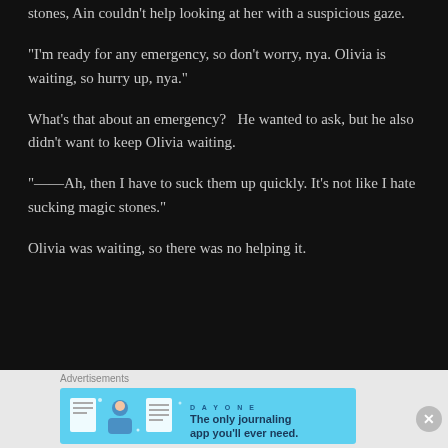stones, Ain couldn't help looking at her with a suspicious gaze.
“I’m ready for any emergency, so don’t worry, nya. Olivia is waiting, so hurry up, nya.”
What’s that about an emergency?   He wanted to ask, but he also didn’t want to keep Olivia waiting.
“——Ah, then I have to suck them up quickly. It’s not like I hate sucking magic stones.”
Olivia was waiting, so there was no helping it.
Advertisements
[Figure (illustration): Day One app advertisement banner with light blue background, app icon illustrations, and text 'The only journaling app you'll ever need.']